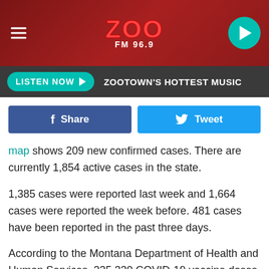[Figure (screenshot): Zoo FM 96.9 radio station website header with red background, hamburger menu icon on left, ZOO FM 96.9 logo in center, teal play button on right]
LISTEN NOW ▶   ZOOTOWN'S HOTTEST MUSIC
[Figure (screenshot): Social sharing buttons: blue Facebook Share button and light blue Twitter Tweet button]
map shows 209 new confirmed cases. There are currently 1,854 active cases in the state.
1,385 cases were reported last week and 1,664 cases were reported the week before. 481 cases have been reported in the past three days.
According to the Montana Department of Health and Human Services, 225,330 COVID-19 vaccine doses have been administered and 73,259 Montanans are fully immunized. In Missoula, 25,130 doses have been administered and 8,763 people are fully immunized.